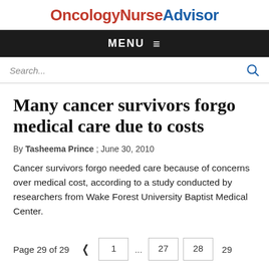OncologyNurseAdvisor
MENU
Search...
Many cancer survivors forgo medical care due to costs
By Tasheema Prince ; June 30, 2010
Cancer survivors forgo needed care because of concerns over medical cost, according to a study conducted by researchers from Wake Forest University Baptist Medical Center.
Page 29 of 29   |<   1  ...  27  28  29